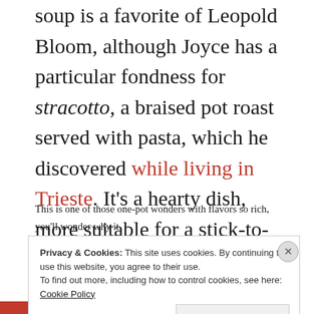soup is a favorite of Leopold Bloom, although Joyce has a particular fondness for stracotto, a braised pot roast served with pasta, which he discovered while living in Trieste. It's a hearty dish, more suitable for a stick-to-your-ribs winter meal than for middle-of-summer Bloomsday, but Bloom's meals weren't particularly seasonal either (Kidneys? Cocoa and cider? In June?).
This is one of those one-pot wonders with flavors so rich, you'll wonder why it wasn't more work. As my roast simmered away on the stove, I remembered what
Privacy & Cookies: This site uses cookies. By continuing to use this website, you agree to their use.
To find out more, including how to control cookies, see here: Cookie Policy
Close and accept